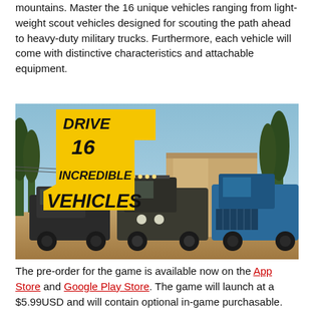mountains. Master the 16 unique vehicles ranging from light-weight scout vehicles designed for scouting the path ahead to heavy-duty military trucks. Furthermore, each vehicle will come with distinctive characteristics and attachable equipment.
[Figure (screenshot): Game promotional image showing three military off-road trucks in a muddy outdoor environment with yellow badge text reading DRIVE 16 INCREDIBLE VEHICLES]
The pre-order for the game is available now on the App Store and Google Play Store. The game will launch at a $5.99USD and will contain optional in-game purchasable.